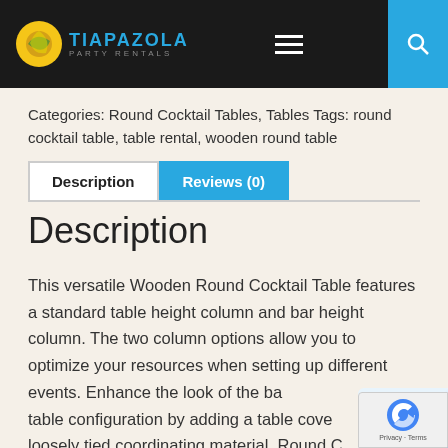Tiapazola Party Rentals — navigation header with logo, hamburger menu, cart (0), and search
Categories: Round Cocktail Tables, Tables Tags: round cocktail table, table rental, wooden round table
Description | Reviews (0)
Description
This versatile Wooden Round Cocktail Table features a standard table height column and bar height column. The two column options allow you to optimize your resources when setting up different events. Enhance the look of the bar table configuration by adding a table cover loosely tied coordinating material. Round Cocktail Tables are great for any occasion and...